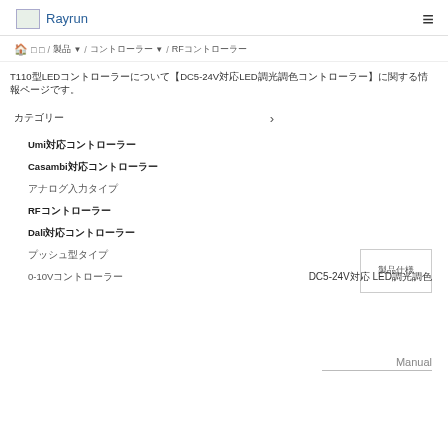Rayrun ≡
🏠 □ □ / 製品 ▼ / コントローラー ▼ / RFコントローラー
T110型LEDコントローラーについて【DC5-24V対応LED調光調色コントローラー】に関する情報ページです。
カテゴリー >
Umi対応コントローラー
Casambi対応コントローラー
アナログ入力タイプ
RFコントローラー
Dali対応コントローラー
プッシュ型タイプ
0-10Vコントローラー
Manual
DC5-24V対応 LED調光調色